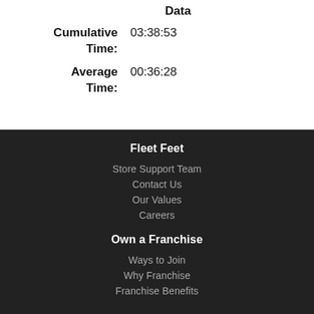Data
Cumulative Time: 03:38:53
Average Time: 00:36:28
Fleet Feet
Store Support Team
Contact Us
Our Values
Careers
Own a Franchise
Ways to Join
Why Franchise
Franchise Benefits